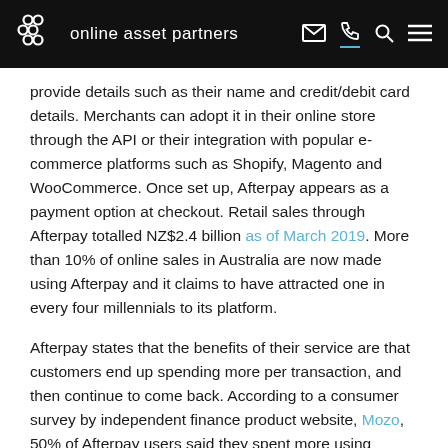online asset partners
provide details such as their name and credit/debit card details. Merchants can adopt it in their online store through the API or their integration with popular e-commerce platforms such as Shopify, Magento and WooCommerce. Once set up, Afterpay appears as a payment option at checkout. Retail sales through Afterpay totalled NZ$2.4 billion as of March 2019. More than 10% of online sales in Australia are now made using Afterpay and it claims to have attracted one in every four millennials to its platform.
Afterpay states that the benefits of their service are that customers end up spending more per transaction, and then continue to come back. According to a consumer survey by independent finance product website, Mozo, 50% of Afterpay users said they spent more using Afterpay than when using a debit or credit card. Furthermore, 64% of respondents said that being able to make smaller, spaced out payments was influencing them to make